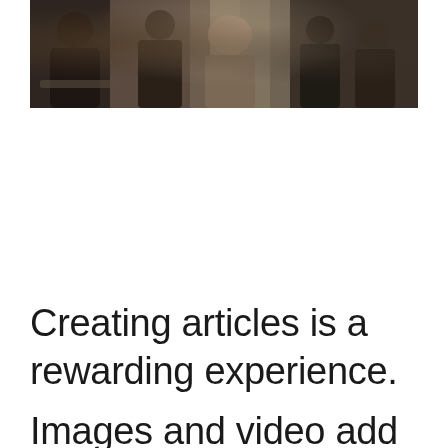[Figure (photo): A group of people sitting in a casual workspace or cafe setting, some using devices, in a dark/moody atmosphere.]
Creating articles is a rewarding experience.
Images and video add to the